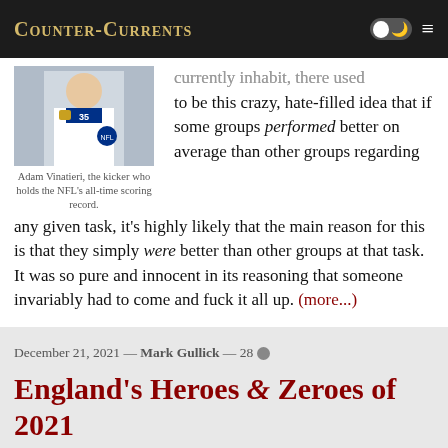Counter-Currents
[Figure (photo): Adam Vinatieri in NFL jersey number 35]
Adam Vinatieri, the kicker who holds the NFL's all-time scoring record.
currently inhabit, there used to be this crazy, hate-filled idea that if some groups performed better on average than other groups regarding any given task, it's highly likely that the main reason for this is that they simply were better than other groups at that task. It was so pure and innocent in its reasoning that someone invariably had to come and fuck it all up. (more...)
December 21, 2021 — Mark Gullick — 28
England's Heroes & Zeroes of 2021